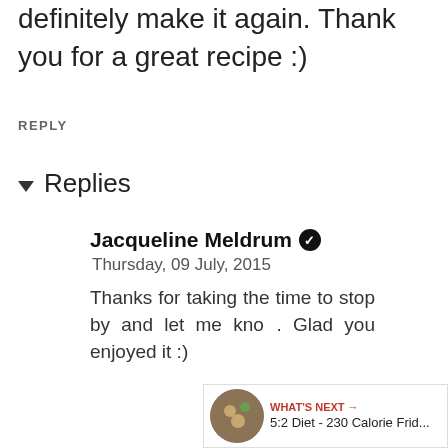definitely make it again. Thank you for a great recipe :)
REPLY
Replies
Jacqueline Meldrum ✔
Thursday, 09 July, 2015
Thanks for taking the time to stop by and let me know. Glad you enjoyed it :)
Reply
kevin Wednesday, 13 Febr…
She'll give you an outlet for your